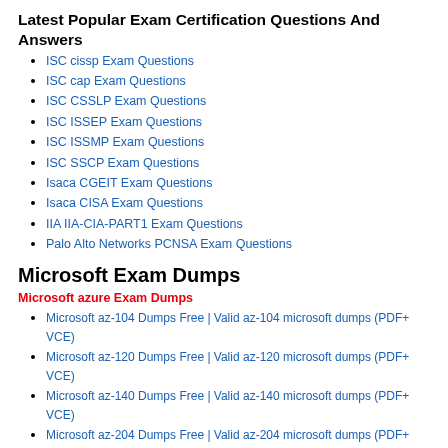Latest Popular Exam Certification Questions And Answers
ISC cissp Exam Questions
ISC cap Exam Questions
ISC CSSLP Exam Questions
ISC ISSEP Exam Questions
ISC ISSMP Exam Questions
ISC SSCP Exam Questions
Isaca CGEIT Exam Questions
Isaca CISA Exam Questions
IIA IIA-CIA-PART1 Exam Questions
Palo Alto Networks PCNSA Exam Questions
Microsoft Exam Dumps
Microsoft azure Exam Dumps
Microsoft az-104 Dumps Free | Valid az-104 microsoft dumps (PDF+ VCE)
Microsoft az-120 Dumps Free | Valid az-120 microsoft dumps (PDF+ VCE)
Microsoft az-140 Dumps Free | Valid az-140 microsoft dumps (PDF+ VCE)
Microsoft az-204 Dumps Free | Valid az-204 microsoft dumps (PDF+ VCE)
Microsoft az-220 Dumps Free | Valid az-220 microsoft dumps (PDF+ VCE)
Microsoft az-303 Dumps Free | Valid az-303 microsoft dumps (PDF+ VCE)
Microsoft az-304 Dumps Free | Valid az-304 microsoft dumps (PDF+ VCE)
Microsoft az-305 Dumps Free | Valid az-305 microsoft dumps (PDF+ VCE)
Microsoft az-400 Dumps Free | Valid az-400 microsoft dumps (PDF+ VCE)
Microsoft az-500 Dumps Free | Valid az-500 microsoft dumps (PDF+ VCE)